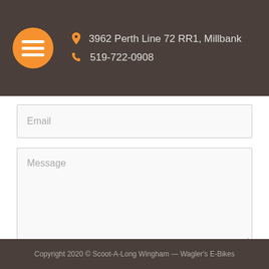3962 Perth Line 72 RR1, Millbank | 519-722-0908
Email
Message
Send
Copyright 2020 © Scoot-A-Long Wingham — Wagler's E-Bikes